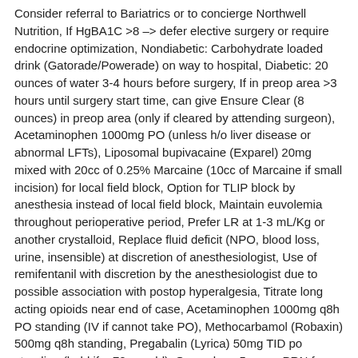Consider referral to Bariatrics or to concierge Northwell Nutrition, If HgBA1C >8 -> defer elective surgery or require endocrine optimization, Nondiabetic: Carbohydrate loaded drink (Gatorade/Powerade) on way to hospital, Diabetic: 20 ounces of water 3-4 hours before surgery, If in preop area >3 hours until surgery start time, can give Ensure Clear (8 ounces) in preop area (only if cleared by attending surgeon), Acetaminophen 1000mg PO (unless h/o liver disease or abnormal LFTs), Liposomal bupivacaine (Exparel) 20mg mixed with 20cc of 0.25% Marcaine (10cc of Marcaine if small incision) for local field block, Option for TLIP block by anesthesia instead of local field block, Maintain euvolemia throughout perioperative period, Prefer LR at 1-3 mL/Kg or another crystalloid, Replace fluid deficit (NPO, blood loss, urine, insensible) at discretion of anesthesiologist, Use of remifentanil with discretion by the anesthesiologist due to possible association with postop hyperalgesia, Titrate long acting opioids near end of case, Acetaminophen 1000mg q8h PO standing (IV if cannot take PO), Methocarbamol (Robaxin) 500mg q8h standing, Pregabalin (Lyrica) 50mg TID po standing (hold if > 70 yrs old), Oxycodone 5mg po PRN for severe pain (PAS of 7-